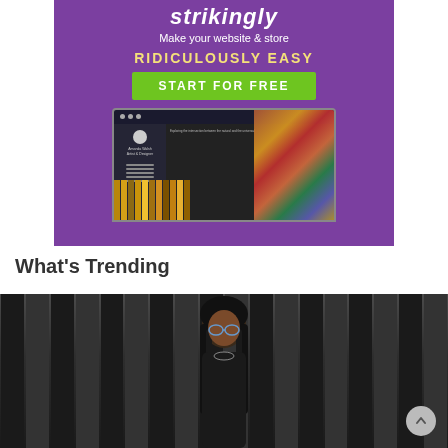[Figure (screenshot): Strikingly website builder advertisement banner with purple background, 'Make your website & store', 'RIDICULOUSLY EASY', green 'START FOR FREE' button, and a website mockup showing a designer portfolio with flower image]
What's Trending
[Figure (photo): Photo of a Black woman with long dark braids, wearing glasses and a dark outfit, standing in front of a background with vertical dark stripes/bars]